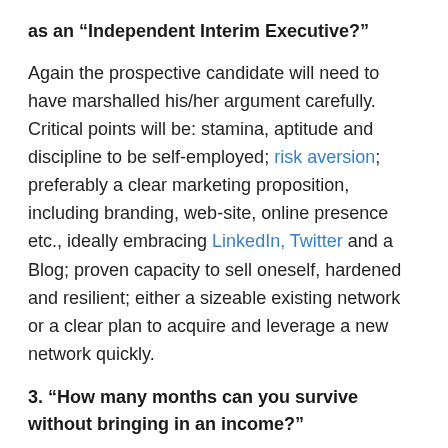as an “Independent Interim Executive?”
Again the prospective candidate will need to have marshalled his/her argument carefully. Critical points will be: stamina, aptitude and discipline to be self-employed; risk aversion; preferably a clear marketing proposition, including branding, web-site, online presence etc., ideally embracing LinkedIn, Twitter and a Blog; proven capacity to sell oneself, hardened and resilient; either a sizeable existing network or a clear plan to acquire and leverage a new network quickly.
3. “How many months can you survive without bringing in an income?”
In the old days when Interim Management and the wider economy was growing rapidly, I would have expected a